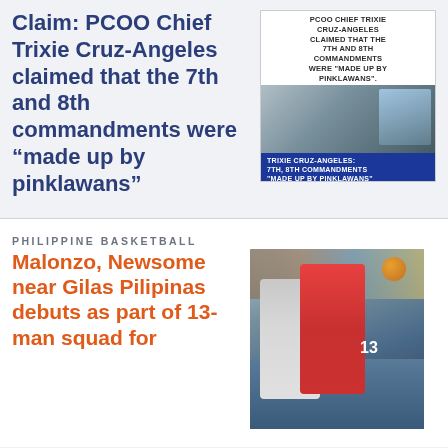Claim: PCOO Chief Trixie Cruz-Angeles claimed that the 7th and 8th commandments were “made up by pinklawans”
[Figure (photo): Fact-check graphic showing text 'PCOO Chief Trixie Cruz-Angeles claimed that the 7th and 8th commandments were made up by pinklawans.' with 'SATIRE' label in red, photo of a person at a podium, and blue banner reading 'TRIXIE CRUZ-ANGELES: 7TH, 8TH COMMANDMENTS MADE UP BY PINKLAWANS']
PHILIPPINE BASKETBALL
Malonzo, Newsome near Gilas Pilipinas debuts as part of 13-man squad for
[Figure (photo): Basketball photo showing two players, one in red jersey number 13, competing for the ball in an arena with crowd in the background]